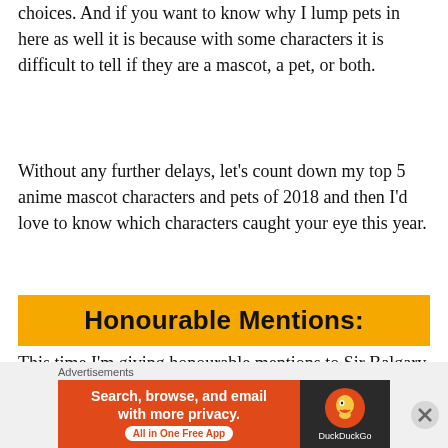choices. And if you want to know why I lump pets in here as well it is because with some characters it is difficult to tell if they are a mascot, a pet, or both.
Without any further delays, let’s count down my top 5 anime mascot characters and pets of 2018 and then I’d love to know which characters caught your eye this year.
Honourable Mentions:
This time I’m giving honourable mentions to Sir Balgary from Record of Grancrest War (great potential character but too limited in appearance) and Navi from 100 Sleeping Princes (too annoying and failed to keep)
[Figure (screenshot): DuckDuckGo advertisement banner: orange left panel with 'Search, browse, and email with more privacy. All in One Free App' and dark right panel with DuckDuckGo logo]
Advertisements